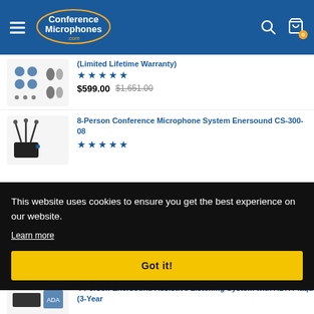Conference Microphones .com
(Limited Lifetime Warranty)
★★★★★
$599.00  $1,651.00
8-Person Conference Microphone System Enersound CS-300-08
★★★★★
This website uses cookies to ensure you get the best experience on our website.
Learn more
Got it!
4-Person Enersound Assistive Listening System with ADA Plaque (3-Year